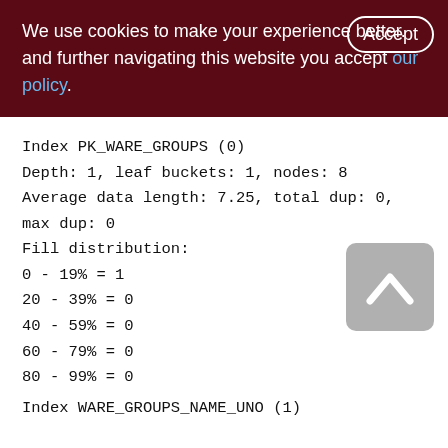We use cookies to make your experience better. By accepting and further navigating this website you accept our policy.
Index PK_WARE_GROUPS (0)
Depth: 1, leaf buckets: 1, nodes: 8
Average data length: 7.25, total dup: 0, max dup: 0
Fill distribution:
0 - 19% = 1
20 - 39% = 0
40 - 59% = 0
60 - 79% = 0
80 - 99% = 0
Index WARE_GROUPS_NAME_UNO (1)